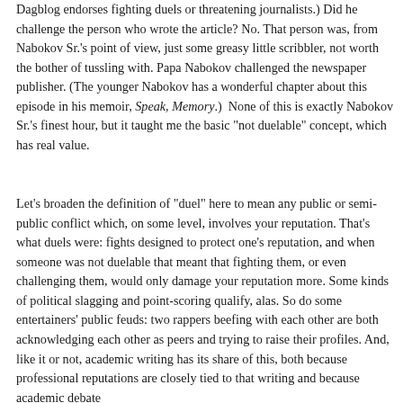Dagblog endorses fighting duels or threatening journalists.) Did he challenge the person who wrote the article? No. That person was, from Nabokov Sr.'s point of view, just some greasy little scribbler, not worth the bother of tussling with. Papa Nabokov challenged the newspaper publisher. (The younger Nabokov has a wonderful chapter about this episode in his memoir, Speak, Memory.)  None of this is exactly Nabokov Sr.'s finest hour, but it taught me the basic "not duelable" concept, which has real value.
Let's broaden the definition of "duel" here to mean any public or semi-public conflict which, on some level, involves your reputation. That's what duels were: fights designed to protect one's reputation, and when someone was not duelable that meant that fighting them, or even challenging them, would only damage your reputation more. Some kinds of political slagging and point-scoring qualify, alas. So do some entertainers' public feuds: two rappers beefing with each other are both acknowledging each other as peers and trying to raise their profiles. And, like it or not, academic writing has its share of this, both because professional reputations are closely tied to that writing and because academic debate